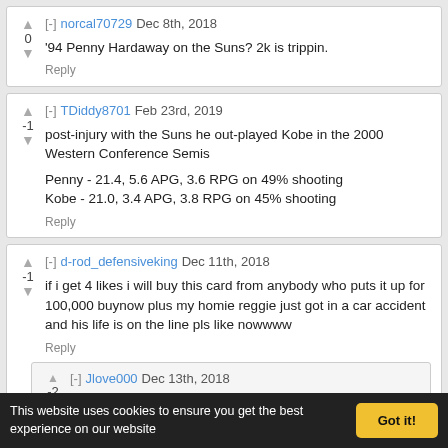norcal70729 Dec 8th, 2018 — score: 0 — '94 Penny Hardaway on the Suns? 2k is trippin. Reply
TDiddy8701 Feb 23rd, 2019 — score: -1 — post-injury with the Suns he out-played Kobe in the 2000 Western Conference Semis

Penny - 21.4, 5.6 APG, 3.6 RPG on 49% shooting
Kobe - 21.0, 3.4 APG, 3.8 RPG on 45% shooting Reply
d-rod_defensiveking Dec 11th, 2018 — score: -1 — if i get 4 likes i will buy this card from anybody who puts it up for 100,000 buynow plus my homie reggie just got in a car accident and his life is on the line pls like nowwww Reply
Jlove000 Dec 13th, 2018 — score: -2 — You lying Reply
d-rod_defensiveking Dec 14th, 2018
This website uses cookies to ensure you get the best experience on our website   Got it!